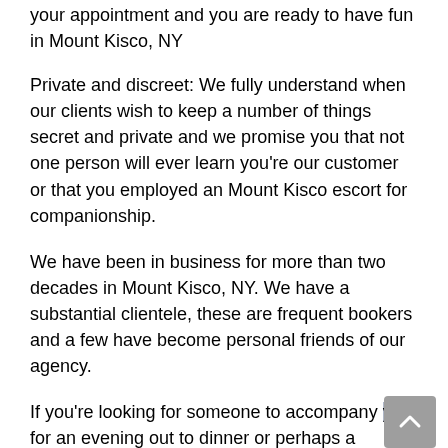your appointment and you are ready to have fun in Mount Kisco, NY
Private and discreet: We fully understand when our clients wish to keep a number of things secret and private and we promise you that not one person will ever learn you’re our customer or that you employed an Mount Kisco escort for companionship.
We have been in business for more than two decades in Mount Kisco, NY. We have a substantial clientele, these are frequent bookers and a few have become personal friends of our agency.
If you’re looking for someone to accompany you for an evening out to dinner or perhaps a